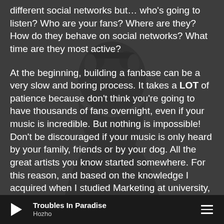different social networks but… who's going to listen? Who are your fans? Where are they? How do they behave on social networks? What time are they most active?
At the beginning, building a fanbase can be a very slow and boring process. It takes a LOT of patience because don't think you're going to have thousands of fans overnight, even if your music is incredible. But nothing is impossible! Don't be discouraged if your music is only heard by your family, friends or by your dog. All the great artists you know started somewhere. For this reason, and based on the knowledge I acquired when I studied Marketing at university, I decided to write this post that can help you build and increase your fanbase, a process that
[Figure (photo): Silhouette of a person wearing headphones against a dark grey background]
Troubles In Paradise | Hozho